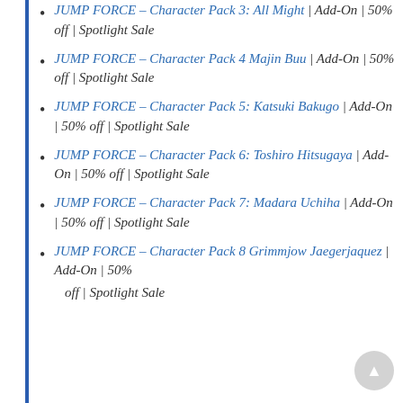JUMP FORCE – Character Pack 3: All Might | Add-On | 50% off | Spotlight Sale
JUMP FORCE – Character Pack 4 Majin Buu | Add-On | 50% off | Spotlight Sale
JUMP FORCE – Character Pack 5: Katsuki Bakugo | Add-On | 50% off | Spotlight Sale
JUMP FORCE – Character Pack 6: Toshiro Hitsugaya | Add-On | 50% off | Spotlight Sale
JUMP FORCE – Character Pack 7: Madara Uchiha | Add-On | 50% off | Spotlight Sale
JUMP FORCE – Character Pack 8 Grimmjow Jaegerjaquez | Add-On | 50% off | Spotlight Sale